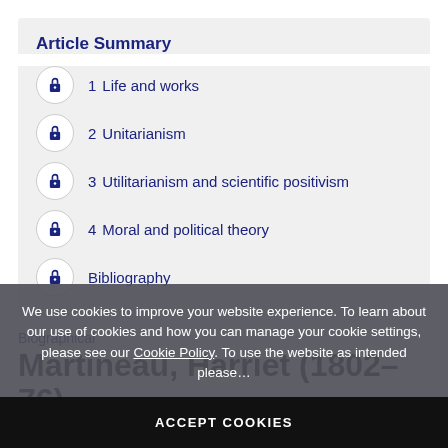Article Summary
1  Life and works
2  Unitarianism
3  Utilitarianism and scientific positivism
4  Moral and political theory
Bibliography
Biographical
Martineau, Harriet (1802–76)
By...
DOI: 10.4324/9780415249125...
We use cookies to improve your website experience. To learn about our use of cookies and how you can manage your cookie settings, please see our Cookie Policy. To use the website as intended please...
ACCEPT COOKIES